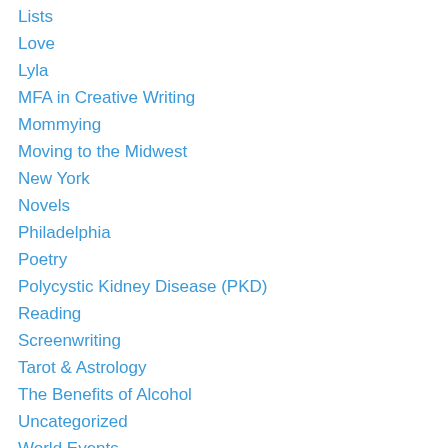Lists
Love
Lyla
MFA in Creative Writing
Mommying
Moving to the Midwest
New York
Novels
Philadelphia
Poetry
Polycystic Kidney Disease (PKD)
Reading
Screenwriting
Tarot & Astrology
The Benefits of Alcohol
Uncategorized
World Events
Writer's Block
Writing
Yuck